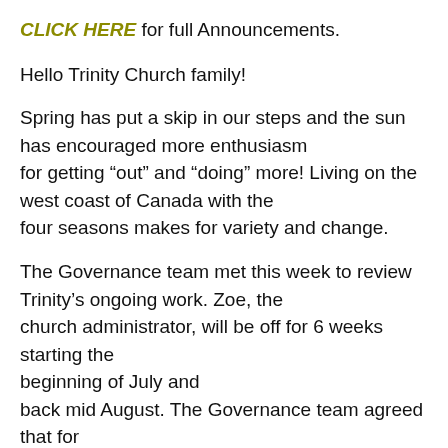CLICK HERE for full Announcements.
Hello Trinity Church family!
Spring has put a skip in our steps and the sun has encouraged more enthusiasm for getting “out” and “doing” more! Living on the west coast of Canada with the four seasons makes for variety and change.
The Governance team met this week to review Trinity’s ongoing work. Zoe, the church administrator, will be off for 6 weeks starting the beginning of July and back mid August. The Governance team agreed that for this time that Trinity can